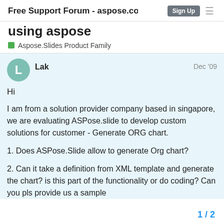Free Support Forum - aspose.co
using aspose
Aspose.Slides Product Family
Lak
Dec '09
Hi
I am from a solution provider company based in singapore, we are evaluating ASPose.slide to develop custom solutions for customer - Generate ORG chart.
1. Does ASPose.Slide allow to generate Org chart?
2. Can it take a definition from XML template and generate the chart? is this part of the functionality or do coding? Can you pls provide us a sample
1 / 2